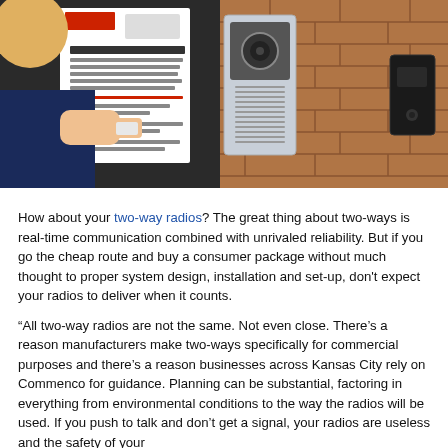[Figure (photo): A person swiping an access card at a school or office building entrance with a security panel mounted on a brick wall to the right. The left side shows a welcome sign on a dark panel, and the right side shows an intercom or keypad system mounted on a brick wall.]
How about your two-way radios? The great thing about two-ways is real-time communication combined with unrivaled reliability. But if you go the cheap route and buy a consumer package without much thought to proper system design, installation and set-up, don't expect your radios to deliver when it counts.
“All two-way radios are not the same. Not even close. There’s a reason manufacturers make two-ways specifically for commercial purposes and there’s a reason businesses across Kansas City rely on Commenco for guidance. Planning can be substantial, factoring in everything from environmental conditions to the way the radios will be used. If you push to talk and don’t get a signal, your radios are useless and the safety of your